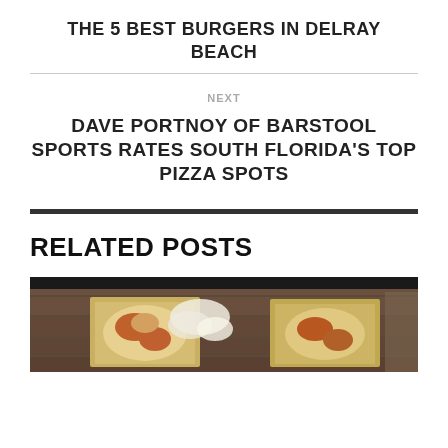THE 5 BEST BURGERS IN DELRAY BEACH
NEXT
DAVE PORTNOY OF BARSTOOL SPORTS RATES SOUTH FLORIDA'S TOP PIZZA SPOTS
RELATED POSTS
[Figure (photo): Photo of pizza on a wooden surface, partially visible at bottom of page]